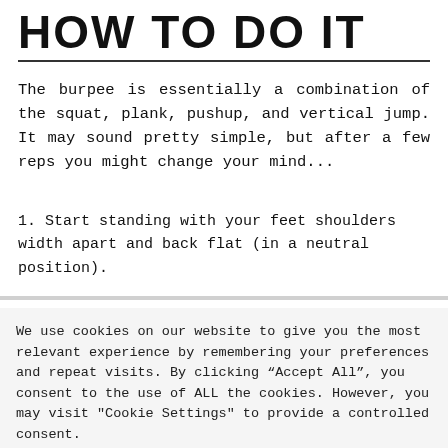HOW TO DO IT
The burpee is essentially a combination of the squat, plank, pushup, and vertical jump. It may sound pretty simple, but after a few reps you might change your mind...
1. Start standing with your feet shoulders width apart and back flat (in a neutral position).
We use cookies on our website to give you the most relevant experience by remembering your preferences and repeat visits. By clicking “Accept All”, you consent to the use of ALL the cookies. However, you may visit "Cookie Settings" to provide a controlled consent.